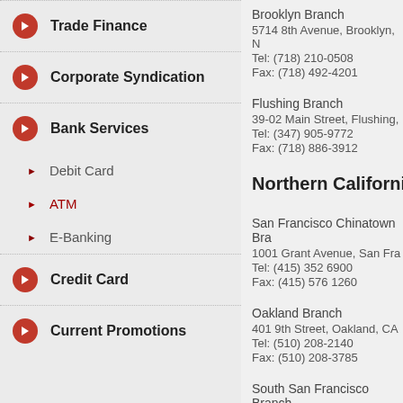Trade Finance
Corporate Syndication
Bank Services
Debit Card
ATM
E-Banking
Credit Card
Current Promotions
Brooklyn Branch
5714 8th Avenue, Brooklyn, N
Tel: (718) 210-0508
Fax: (718) 492-4201
Flushing Branch
39-02 Main Street, Flushing,
Tel: (347) 905-9772
Fax: (718) 886-3912
Northern Californi
San Francisco Chinatown Bra
1001 Grant Avenue, San Fra
Tel: (415) 352 6900
Fax: (415) 576 1260
Oakland Branch
401 9th Street, Oakland, CA
Tel: (510) 208-2140
Fax: (510) 208-3785
South San Francisco Branch